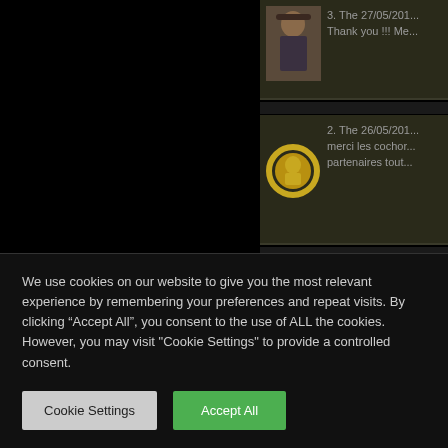[Figure (screenshot): Comment item 3 with thumbnail of a man in a hat and text: 3. The 27/05/201... Thank you !!! Me...]
[Figure (screenshot): Comment item 2 with gold medallion thumbnail and text: 2. The 26/05/201... merci les cochor... partenaires tout...]
[Figure (screenshot): Comment item 1 with snowman avatar thumbnail and text: 1. The 25/05/201... Wow! Great job g...]
We use cookies on our website to give you the most relevant experience by remembering your preferences and repeat visits. By clicking “Accept All”, you consent to the use of ALL the cookies. However, you may visit "Cookie Settings" to provide a controlled consent.
Cookie Settings
Accept All